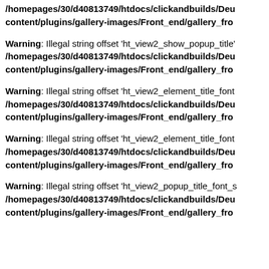/homepages/30/d40813749/htdocs/clickandbuilds/Deu content/plugins/gallery-images/Front_end/gallery_fro
Warning: Illegal string offset 'ht_view2_show_popup_title' /homepages/30/d40813749/htdocs/clickandbuilds/Deu content/plugins/gallery-images/Front_end/gallery_fro
Warning: Illegal string offset 'ht_view2_element_title_font /homepages/30/d40813749/htdocs/clickandbuilds/Deu content/plugins/gallery-images/Front_end/gallery_fro
Warning: Illegal string offset 'ht_view2_element_title_font /homepages/30/d40813749/htdocs/clickandbuilds/Deu content/plugins/gallery-images/Front_end/gallery_fro
Warning: Illegal string offset 'ht_view2_popup_title_font_s /homepages/30/d40813749/htdocs/clickandbuilds/Deu content/plugins/gallery-images/Front_end/gallery_fro